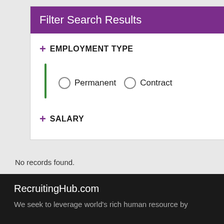Filter Search Results
+ EMPLOYMENT TYPE
Permanent
Contract
+ SALARY
No records found.
RecruitingHub.com
We seek to leverage world's rich human resource by